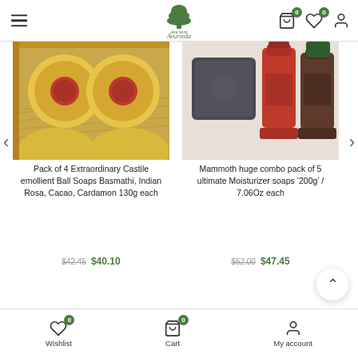Ancient Ayurveda - navigation header with logo, cart (0), wishlist (0), account
[Figure (photo): Pack of 4 gold-foil wrapped ball soaps with red wax seals in a box with straw]
Pack of 4 Extraordinary Castile emollient Ball Soaps Basmathi, Indian Rosa, Cacao, Cardamon 130g each
$42.45  $40.10
[Figure (photo): Mammoth huge combo pack of 5 moisturizer soaps in dark square packaging, red and dark brown bottles]
Mammoth huge combo pack of 5 ultimate Moisturizer soaps -‘200g’ / 7.06Oz each
$52.00  $47.45
Wishlist 0 | Cart 0 | My account